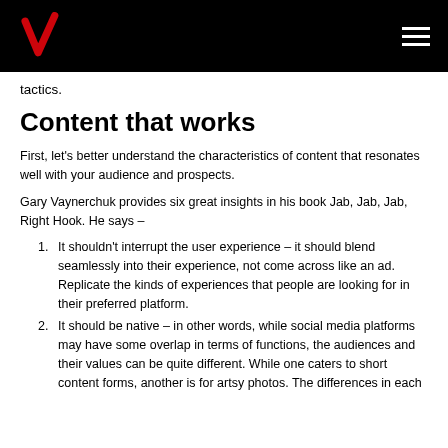Verizon logo and navigation
tactics.
Content that works
First, let's better understand the characteristics of content that resonates well with your audience and prospects.
Gary Vaynerchuk provides six great insights in his book Jab, Jab, Jab, Right Hook. He says –
It shouldn't interrupt the user experience – it should blend seamlessly into their experience, not come across like an ad. Replicate the kinds of experiences that people are looking for in their preferred platform.
It should be native – in other words, while social media platforms may have some overlap in terms of functions, the audiences and their values can be quite different. While one caters to short content forms, another is for artsy photos. The differences in each